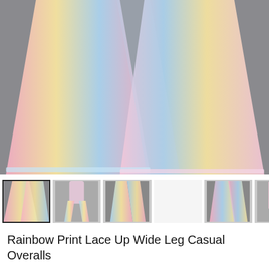[Figure (photo): Main product photo: Two pairs of rainbow pastel wide leg pants laid flat on a grey surface. The fabric shows gradients of pink, yellow, and blue stripes.]
[Figure (photo): Thumbnail strip showing 6 product images: 1st selected (wide leg pants flat), 2nd (model wearing overalls front), 3rd (overalls on grey background), 4th (white/blank), 5th (pants flat on grey), 6th (close-up top detail), 7th (partially visible)]
Rainbow Print Lace Up Wide Leg Casual Overalls
Color — Pink&Yellow